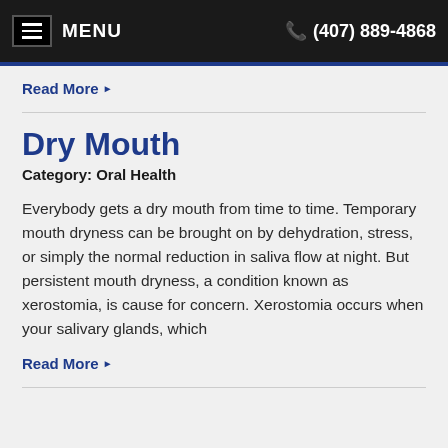MENU  (407) 889-4868
Read More
Dry Mouth
Category: Oral Health
Everybody gets a dry mouth from time to time. Temporary mouth dryness can be brought on by dehydration, stress, or simply the normal reduction in saliva flow at night. But persistent mouth dryness, a condition known as xerostomia, is cause for concern. Xerostomia occurs when your salivary glands, which
Read More